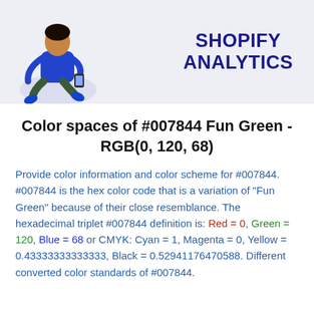[Figure (illustration): Banner image with a person sitting cross-legged looking at a phone, beside large bold text 'SHOPIFY ANALYTICS' on a light purple/grey background.]
Color spaces of #007844 Fun Green - RGB(0, 120, 68)
Provide color information and color scheme for #007844. #007844 is the hex color code that is a variation of "Fun Green" because of their close resemblance. The hexadecimal triplet #007844 definition is: Red = 0, Green = 120, Blue = 68 or CMYK: Cyan = 1, Magenta = 0, Yellow = 0.43333333333333, Black = 0.52941176470588. Different converted color standards of #007844.